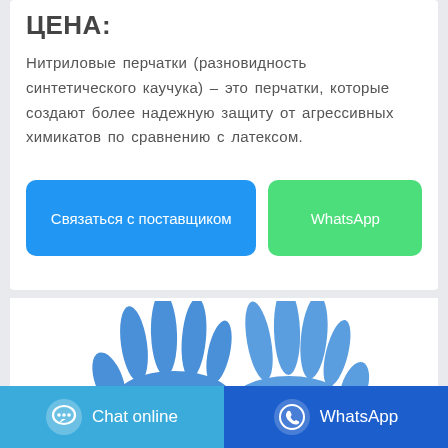ЦЕНА:
Нитриловые перчатки (разновидность синтетического каучука) – это перчатки, которые создают более надежную защиту от агрессивных химикатов по сравнению с латексом.
[Figure (screenshot): Two blue action buttons: 'Связаться с поставщиком' (blue) and 'WhatsApp' (green)]
[Figure (photo): Two hands wearing blue nitrile gloves, white background]
[Figure (screenshot): Bottom navigation bar with Chat online (light blue) and WhatsApp (dark blue) buttons]